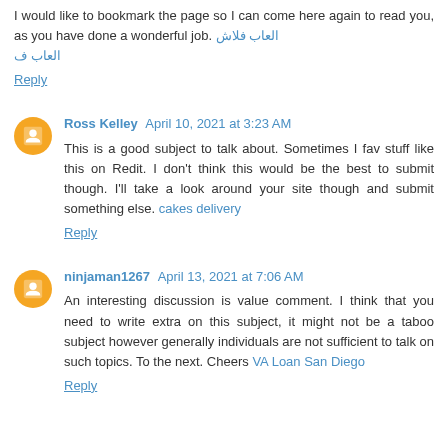I would like to bookmark the page so I can come here again to read you, as you have done a wonderful job. [link text in non-Latin script]
Reply
Ross Kelley April 10, 2021 at 3:23 AM
This is a good subject to talk about. Sometimes I fav stuff like this on Redit. I don't think this would be the best to submit though. I'll take a look around your site though and submit something else. cakes delivery
Reply
ninjaman1267 April 13, 2021 at 7:06 AM
An interesting discussion is value comment. I think that you need to write extra on this subject, it might not be a taboo subject however generally individuals are not sufficient to talk on such topics. To the next. Cheers VA Loan San Diego
Reply